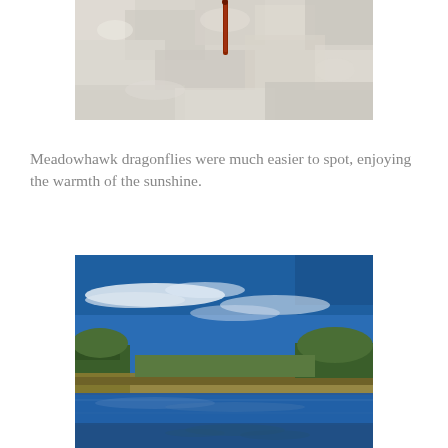[Figure (photo): Close-up photo of a dragonfly (Meadowhawk) resting on a rocky surface, with a reddish-brown body visible against white/grey textured rock.]
Meadowhawk dragonflies were much easier to spot, enjoying the warmth of the sunshine.
[Figure (photo): Landscape photo of a calm wetland/pond reflecting a vivid blue sky with wispy clouds, surrounded by green and autumn-colored trees and shrubs along the shoreline.]